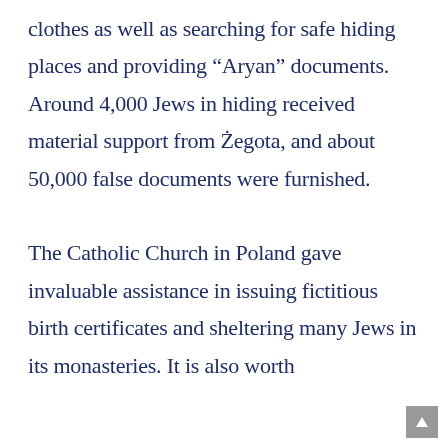clothes as well as searching for safe hiding places and providing “Aryan” documents. Around 4,000 Jews in hiding received material support from Żegota, and about 50,000 false documents were furnished.

The Catholic Church in Poland gave invaluable assistance in issuing fictitious birth certificates and sheltering many Jews in its monasteries. It is also worth